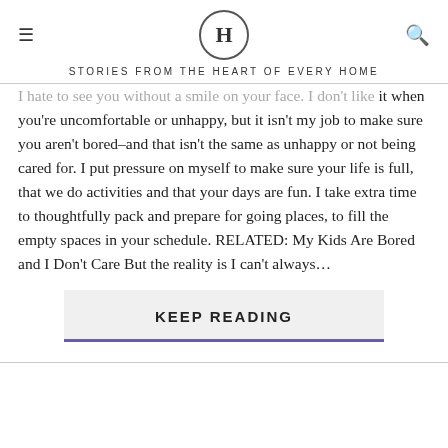H — STORIES FROM THE HEART OF EVERY HOME
I hate to see you without a smile on your face. I don't like it when you're uncomfortable or unhappy, but it isn't my job to make sure you aren't bored–and that isn't the same as unhappy or not being cared for. I put pressure on myself to make sure your life is full, that we do activities and that your days are fun. I take extra time to thoughtfully pack and prepare for going places, to fill the empty spaces in your schedule. RELATED: My Kids Are Bored and I Don't Care But the reality is I can't always…
KEEP READING